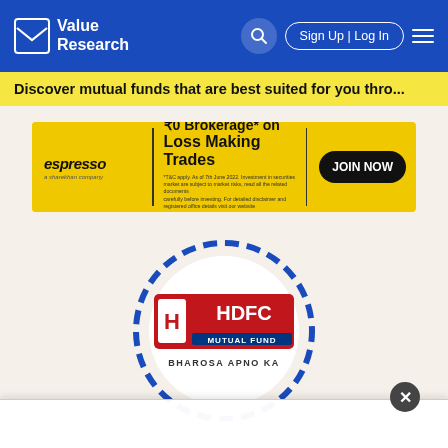Value Research | Sign Up | Log In
Discover mutual funds that are best suited for you thro...
[Figure (screenshot): Espresso brokerage advertisement banner: ₹0 Brokerage* on Loss Making Trades. JOIN NOW button. Fine print disclaimer text.]
[Figure (logo): HDFC Mutual Fund logo with circular dashed border and tagline BHAROSA APNO KA]